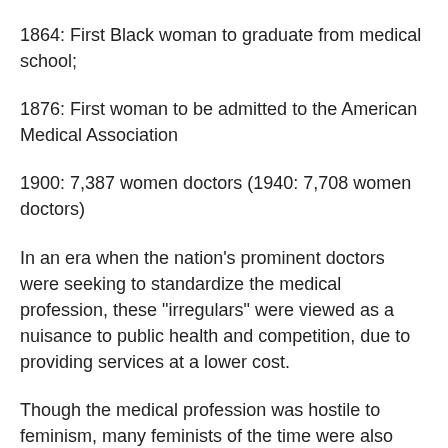1864: First Black woman to graduate from medical school;
1876: First woman to be admitted to the American Medical Association
1900: 7,387 women doctors (1940: 7,708 women doctors)
In an era when the nation’s prominent doctors were seeking to standardize the medical profession, these “irregulars” were viewed as a nuisance to public health and competition, due to providing services at a lower cost.
Though the medical profession was hostile to feminism, many feminists of the time were also anti-abortion. An editorial was published in The Revolution, which was run by Elizabeth Cady